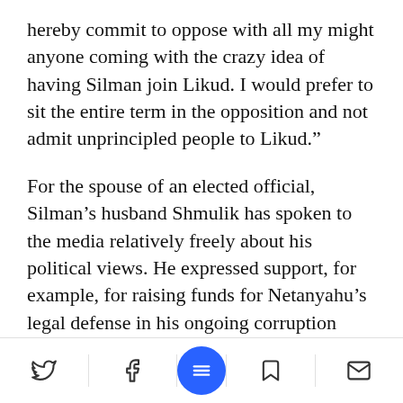hereby commit to oppose with all my might anyone coming with the crazy idea of having Silman join Likud. I would prefer to sit the entire term in the opposition and not admit unprincipled people to Likud.”
For the spouse of an elected official, Silman’s husband Shmulik has spoken to the media relatively freely about his political views. He expressed support, for example, for raising funds for Netanyahu’s legal defense in his ongoing corruption trial, and just Tuesday hinted in an interview with Galei Israel radio at her defection from the coalition government
Social share/navigation bar with Twitter, Facebook, menu, bookmark, and email icons